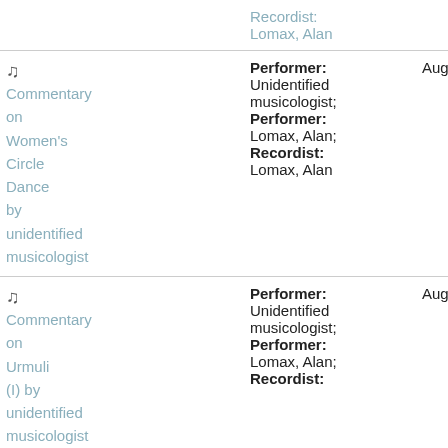Recordist: Lomax, Alan
♫ Commentary on Women's Circle Dance by unidentified musicologist | Performer: Unidentified musicologist; Performer: Lomax, Alan; Recordist: Lomax, Alan | Aug 1, 1964 | 15
♫ Commentary on Urmuli (I) by unidentified musicologist | Performer: Unidentified musicologist; Performer: Lomax, Alan; Recordist: | Aug 1, 1964 | 17